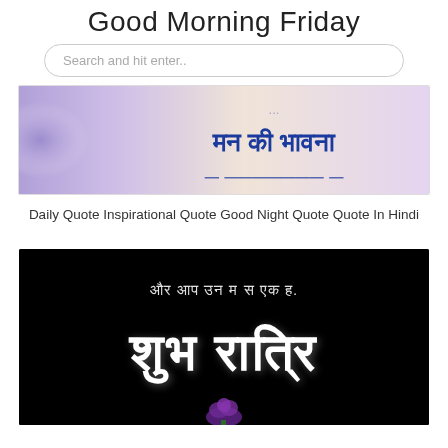Good Morning Friday
Search and hit enter..
[Figure (photo): Partial image showing Hindi text 'मन की भावना' in blue on a floral/purple background]
Daily Quote Inspirational Quote Good Night Quote Quote In Hindi
[Figure (photo): Dark black background image with white Hindi text 'और आप उन म स एक ह.' at top and large 'शुभ रात्रि' in center with a purple rose at bottom]